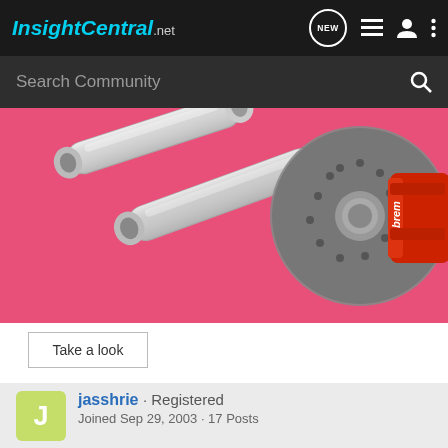InsightCentral.net
Search Community
[Figure (photo): Advertisement banner showing chrome exhaust mufflers and a red Brembo brake caliper with drilled rotor on a pink background]
Take a look
jasshrie · Registered
Joined Sep 29, 2003 · 17 Posts
Discussion Starter · #9 · Sep 30, 2003